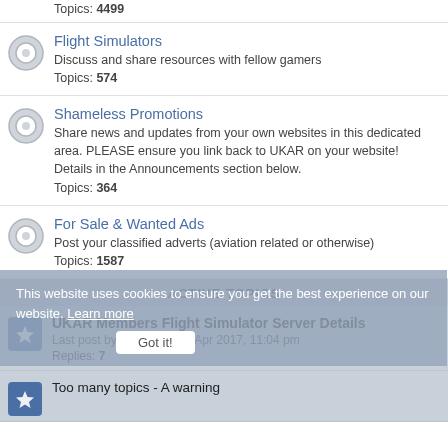Topics: 4499
Flight Simulators
Discuss and share resources with fellow gamers
Topics: 574
Shameless Promotions
Share news and updates from your own websites in this dedicated area. PLEASE ensure you link back to UKAR on your website! Details in the Announcements section below.
Topics: 364
For Sale & Wanted Ads
Post your classified adverts (aviation related or otherwise)
Topics: 1587
ACTIVE TOPICS
UKAR Members Flight Simulator Server Details
Last post by Cole «Tue 25 Apr 2017, 11:04 pm
Replies: 7
Too many topics - A warning
This website uses cookies to ensure you get the best experience on our website. Learn more
Got it!